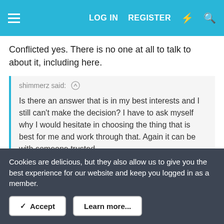LOG IN   REGISTER
Conflicted yes. There is no one at all to talk to about it, including here.
shimmerz said: ↑

Is there an answer that is in my best interests and I still can't make the decision? I have to ask myself why I would hesitate in choosing the thing that is best for me and work through that. Again it can be with someone trusted.
There is no clear choice that is in my best interests. If there was, I would not hesitate in choosing it. There are unknowns, very difficult limitations, and little to no prospect of support.
shimmerz said: ↑
Cookies are delicious, but they also allow us to give you the best experience for our website and keep you logged in as a member.